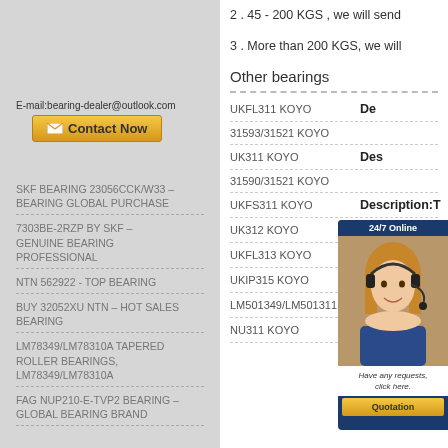2 . 45 - 200 KGS , we will send
3 . More than 200 KGS, we will
Other bearings
E-mail:bearing-dealer@outlook.com
Contact Now
SKF BEARING 23056CCK/W33 – BEARING GLOBAL PURCHASE
7303BE-2RZP BY SKF – GENUINE BEARING PROFESSIONAL
NTN 562922 - TOP BEARING
BUY 32052XU NTN – HOT SALES BEARING
LM78349/LM78310A TAPERED ROLLER BEARINGS, LM78349/LM78310A
FAG NUP210-E-TVP2 BEARING – GLOBAL BEARING BRAND
UKFL311 KOYO   Description:T
31593/31521 KOYO
UK311 KOYO   Des
31590/31521 KOYO
UKFS311 KOYO   Description:T
UK312 KOYO   Description:Title
UKFL313 KOYO   Description:T
UKIP315 KOYO   Description:Ti
LM501349/LM501311 KOYO   De
NU311 KOYO   Description:Title
[Figure (photo): 24/7 Online chat overlay with woman wearing headset]